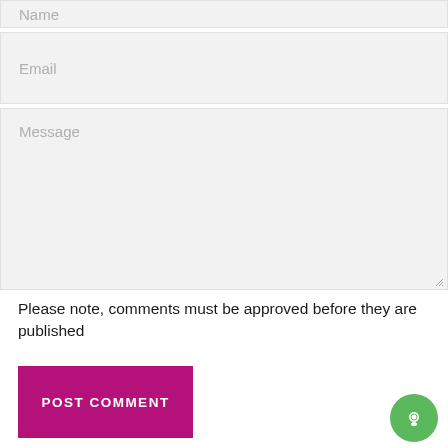Name
Email
Message
Please note, comments must be approved before they are published
POST COMMENT
Links